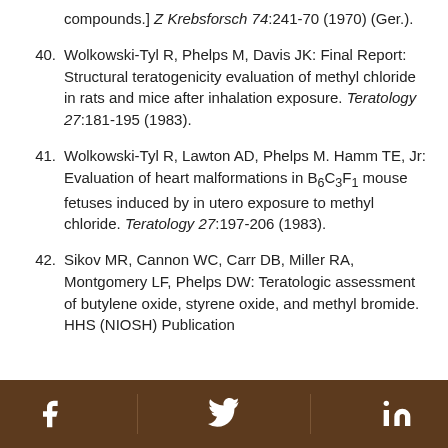compounds.] Z Krebsforsch 74:241-70 (1970) (Ger.).
40. Wolkowski-Tyl R, Phelps M, Davis JK: Final Report: Structural teratogenicity evaluation of methyl chloride in rats and mice after inhalation exposure. Teratology 27:181-195 (1983).
41. Wolkowski-Tyl R, Lawton AD, Phelps M. Hamm TE, Jr: Evaluation of heart malformations in B6C3F1 mouse fetuses induced by in utero exposure to methyl chloride. Teratology 27:197-206 (1983).
42. Sikov MR, Cannon WC, Carr DB, Miller RA, Montgomery LF, Phelps DW: Teratologic assessment of butylene oxide, styrene oxide, and methyl bromide. HHS (NIOSH) Publication
Facebook | Twitter | LinkedIn